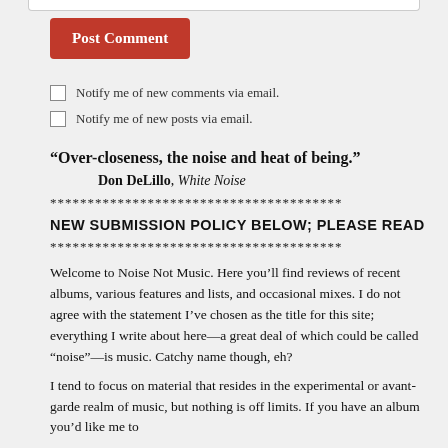[Figure (screenshot): Top edge of a white input box, partially visible at the top of the page]
Post Comment
Notify me of new comments via email.
Notify me of new posts via email.
“Over-closeness, the noise and heat of being.”
Don DeLillo, White Noise
***************************************
NEW SUBMISSION POLICY BELOW; PLEASE READ
***************************************
Welcome to Noise Not Music. Here you’ll find reviews of recent albums, various features and lists, and occasional mixes. I do not agree with the statement I’ve chosen as the title for this site; everything I write about here—a great deal of which could be called “noise”—is music. Catchy name though, eh?
I tend to focus on material that resides in the experimental or avant-garde realm of music, but nothing is off limits. If you have an album you’d like me to